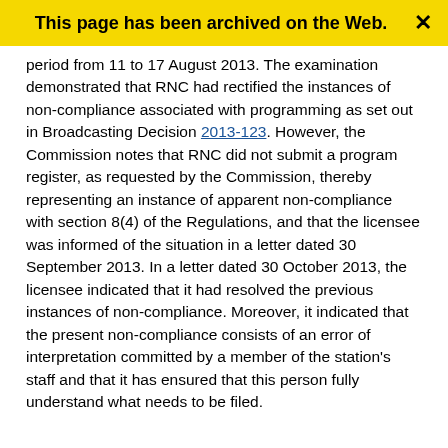This page has been archived on the Web.
period from 11 to 17 August 2013. The examination demonstrated that RNC had rectified the instances of non-compliance associated with programming as set out in Broadcasting Decision 2013-123. However, the Commission notes that RNC did not submit a program register, as requested by the Commission, thereby representing an instance of apparent non-compliance with section 8(4) of the Regulations, and that the licensee was informed of the situation in a letter dated 30 September 2013. In a letter dated 30 October 2013, the licensee indicated that it had resolved the previous instances of non-compliance. Moreover, it indicated that the present non-compliance consists of an error of interpretation committed by a member of the station's staff and that it has ensured that this person fully understand what needs to be filed.